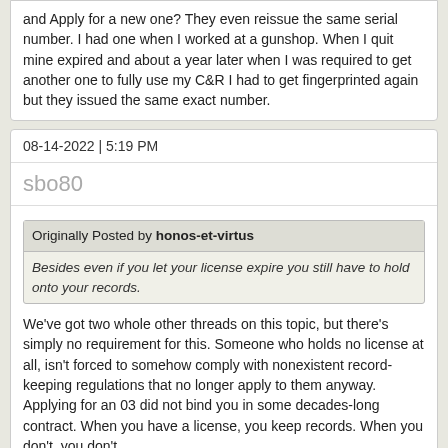and Apply for a new one? They even reissue the same serial number. I had one when I worked at a gunshop. When I quit mine expired and about a year later when I was required to get another one to fully use my C&R I had to get fingerprinted again but they issued the same exact number.
08-14-2022 | 5:19 PM
sbo80
Originally Posted by honos-et-virtus
Besides even if you let your license expire you still have to hold onto your records.
We've got two whole other threads on this topic, but there's simply no requirement for this. Someone who holds no license at all, isn't forced to somehow comply with nonexistent record-keeping regulations that no longer apply to them anyway. Applying for an 03 did not bind you in some decades-long contract. When you have a license, you keep records. When you don't, you don't.